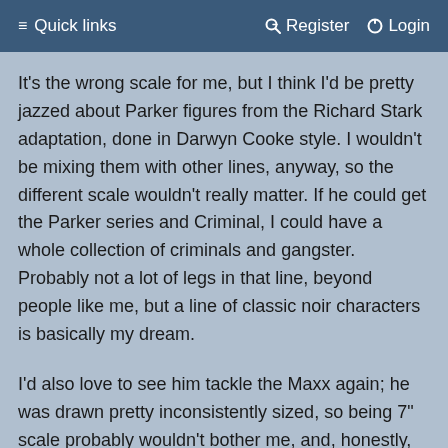≡ Quick links    🔑 Register    ⏻ Login
It's the wrong scale for me, but I think I'd be pretty jazzed about Parker figures from the Richard Stark adaptation, done in Darwyn Cooke style. I wouldn't be mixing them with other lines, anyway, so the different scale wouldn't really matter. If he could get the Parker series and Criminal, I could have a whole collection of criminals and gangster. Probably not a lot of legs in that line, beyond people like me, but a line of classic noir characters is basically my dream.
I'd also love to see him tackle the Maxx again; he was drawn pretty inconsistently sized, so being 7" scale probably wouldn't bother me, and, honestly, even if it did, the joy at having a really good, articulated, more or less comic accurate figure would outweigh that.